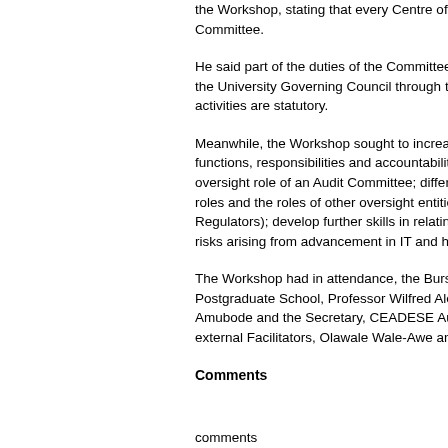the Workshop, stating that every Centre of Excellence has an Audit Committee.
He said part of the duties of the Committee was to report to the University Governing Council through the Management and that the activities are statutory.
Meanwhile, the Workshop sought to increase participants' awareness of functions, responsibilities and accountabilities of Audit Committees; oversight role of an Audit Committee; differentiating Audit Committee roles and the roles of other oversight entities (Internal Audit and Regulators); develop further skills in relating with management; and risks arising from advancement in IT and how these can be mitigated.
The Workshop had in attendance, the Bursar, Members of the Postgraduate School, Professor Wilfred Alegbeleye, Dr. Femi Amubode and the Secretary, CEADESE Audit Committee and two external Facilitators, Olawale Wale-Awe and Da
Comments
comments